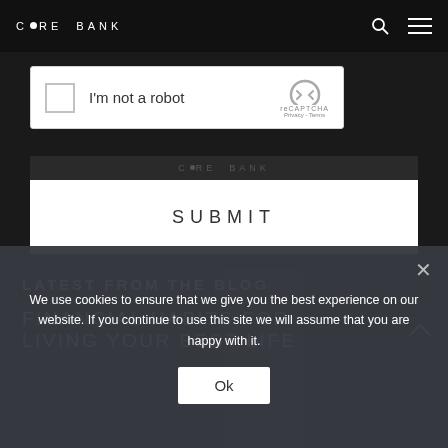CORE BANK
[Figure (screenshot): reCAPTCHA widget with checkbox 'I'm not a robot' and reCAPTCHA logo with Privacy - Terms links]
[Figure (screenshot): Core Bank watermark bar behind submit button]
SUBMIT
LATEST FROM THE BLOG
FINANCIAL HABITS FOR LIVING YOUR BEST LIFE
We use cookies to ensure that we give you the best experience on our website. If you continue to use this site we will assume that you are happy with it.
Ok